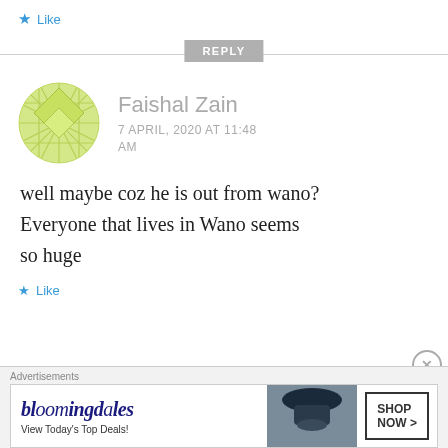★ Like
REPLY
[Figure (illustration): Circular geometric avatar with yellow-green quilt-like pattern]
Faishal Zain
7 APRIL, 2020 AT 11:48 AM
well maybe coz he is out from wano? Everyone that lives in Wano seems so huge
★ Like
[Figure (advertisement): Bloomingdales ad banner: 'View Today's Top Deals!' with SHOP NOW button]